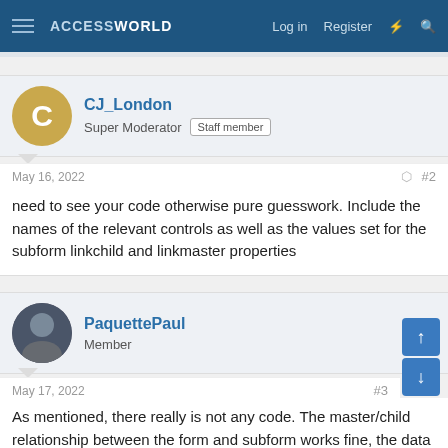ACCESSWORLD   Log in   Register
CJ_London
Super Moderator  Staff member
May 16, 2022  #2
need to see your code otherwise pure guesswork. Include the names of the relevant controls as well as the values set for the subform linkchild and linkmaster properties
PaquettePaul
Member
May 17, 2022  #3
As mentioned, there really is not any code. The master/child relationship between the form and subform works fine, the data